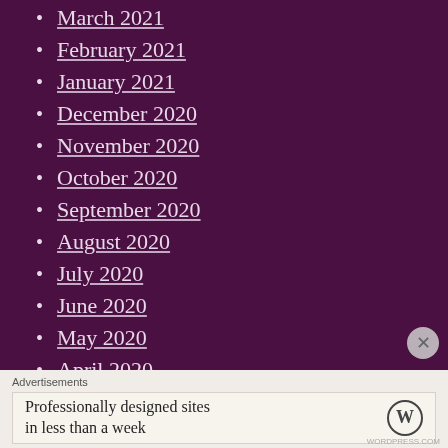March 2021
February 2021
January 2021
December 2020
November 2020
October 2020
September 2020
August 2020
July 2020
June 2020
May 2020
April 2020
March 2020
February 2020
Advertisements
Professionally designed sites in less than a week